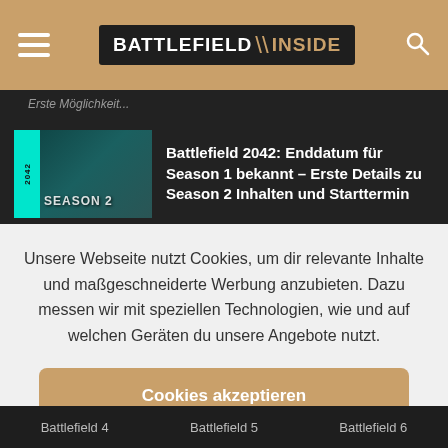BATTLEFIELD \ INSIDE
Erste Möglichkeit...
Battlefield 2042: Enddatum für Season 1 bekannt – Erste Details zu Season 2 Inhalten und Starttermin
Unsere Webseite nutzt Cookies, um dir relevante Inhalte und maßgeschneiderte Werbung anzubieten. Dazu messen wir mit speziellen Technologien, wie und auf welchen Geräten du unsere Angebote nutzt.
Cookies akzeptieren
Einstellungen
Battlefield 4   Battlefield 5   Battlefield 6